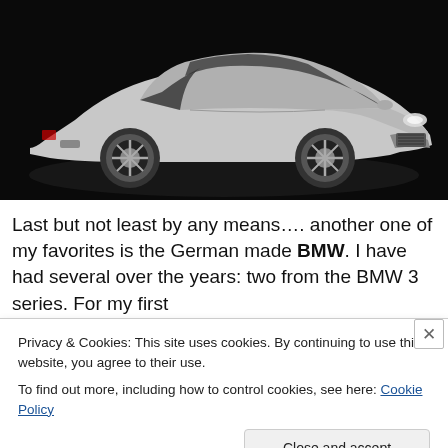[Figure (photo): Silver Aston Martin sports car photographed against a dark background, three-quarter front view showing the car's sleek body, large alloy wheels, and distinctive grille.]
Last but not least by any means…. another one of my favorites is the German made BMW. I have had several over the years: two from the BMW 3 series. For my first
Privacy & Cookies: This site uses cookies. By continuing to use this website, you agree to their use.
To find out more, including how to control cookies, see here: Cookie Policy
Close and accept